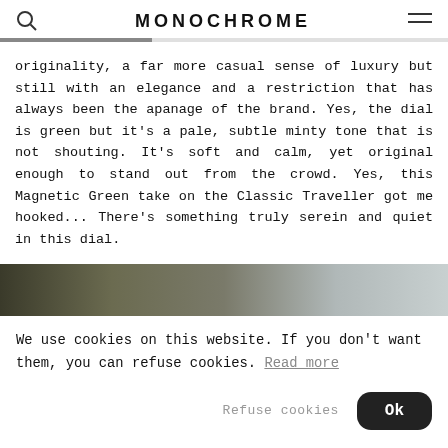MONOCHROME
originality, a far more casual sense of luxury but still with an elegance and a restriction that has always been the apanage of the brand. Yes, the dial is green but it's a pale, subtle minty tone that is not shouting. It's soft and calm, yet original enough to stand out from the crowd. Yes, this Magnetic Green take on the Classic Traveller got me hooked... There's something truly serein and quiet in this dial.
[Figure (photo): Dark olive green to grey gradient strip, partial view of a watch dial image]
We use cookies on this website. If you don't want them, you can refuse cookies. Read more
Refuse cookies   Ok